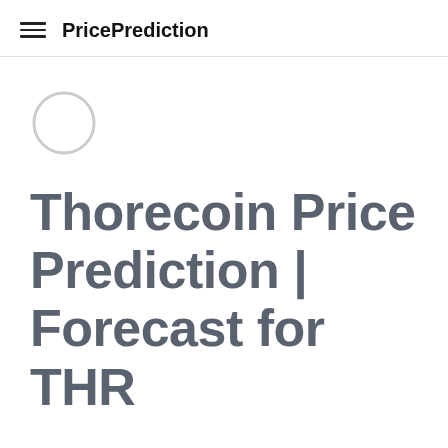PricePrediction
[Figure (illustration): Circular coin icon placeholder, light gray outline circle, representing Thorecoin (THR) cryptocurrency logo]
Thorecoin Price Prediction | Forecast for THR